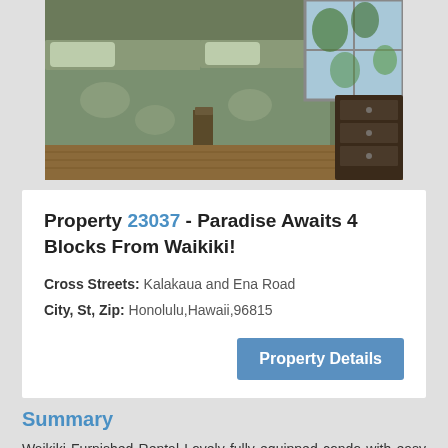[Figure (photo): Interior bedroom photo showing two beds with floral green/teal bedspreads, hardwood floors, window with outdoor view, and a dark wood dresser on the right.]
Property 23037 - Paradise Awaits 4 Blocks From Waikiki!
Cross Streets: Kalakaua and Ena Road
City, St, Zip: Honolulu,Hawaii,96815
Property Details
Summary
Waikiki Furnished Rental Lovely fully equipped condo with easy access to Honolulu as well as Waikiki appliances in the kitchen with in unit washer dryer. Fully furnished to feel like a warm home away from home! Pool,